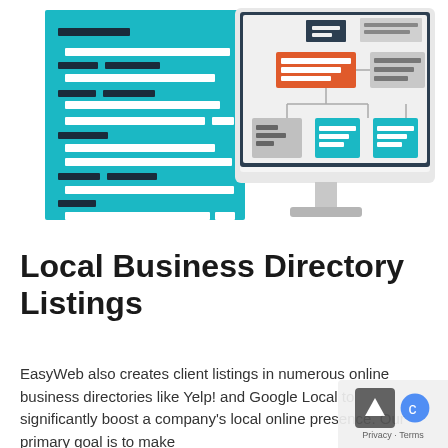[Figure (illustration): Illustration showing a teal/cyan panel with horizontal dark and white bars (representing a list/code), alongside a desktop computer monitor displaying a flowchart/sitemap with orange, gray, and teal boxes connected by lines.]
Local Business Directory Listings
EasyWeb also creates client listings in numerous online business directories like Yelp! and Google Local to significantly boost a company's local online presence. Our primary goal is to make